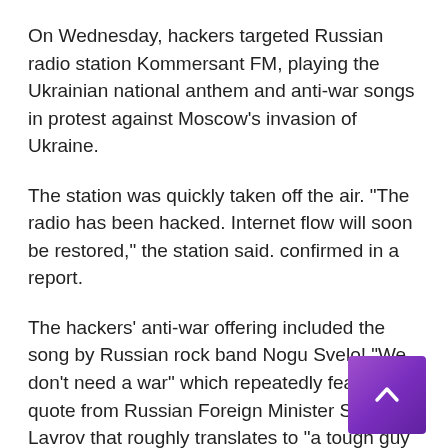On Wednesday, hackers targeted Russian radio station Kommersant FM, playing the Ukrainian national anthem and anti-war songs in protest against Moscow's invasion of Ukraine.
The station was quickly taken off the air. "The radio has been hacked. Internet flow will soon be restored," the station said. confirmed in a report.
The hackers' anti-war offering included the song by Russian rock band Nogu Svelo! "We don't need a war" which repeatedly features a quote from Russian Foreign Minister Sergei Lavrov that roughly translates to "a tough guy always keeps his word."
The Kommersant FM hack is the latest in a series of digital attacks since Russia invaded Ukraine.
Earlier in May, Russian YouTube alternative Rutube was taken offline by a cyberattack ahead of the annual